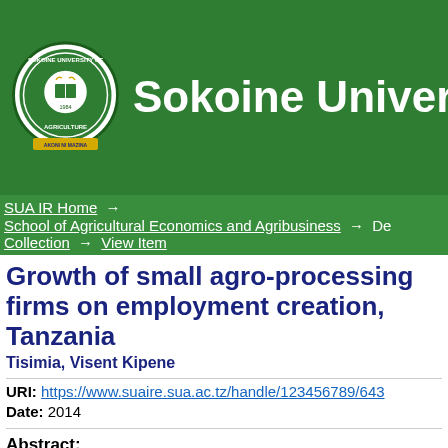[Figure (logo): Sokoine University of Agriculture circular seal/logo in green and gold]
Sokoine Universi
SUA IR Home → School of Agricultural Economics and Agribusiness → De... Collection → View Item
Growth of small agro-processing firms on employment creation, Tanzania
Tisimia, Visent Kipene
URI: https://www.suaire.sua.ac.tz/handle/123456789/643
Date: 2014
Abstract:
The small agro-processing sub-sector accounts for over 80% of all firms in been effective in absorbing new labour in the market, as reflected by the une 5% in 2001to 10% in 2011. The low rate of labour absorption has been parth agro-processing firms, which grew by only 10%. Labour productivity also is p the sub-sector have not performed to their expected potentials. However, m Furthermore, especially in relation to labour productivity and firm...